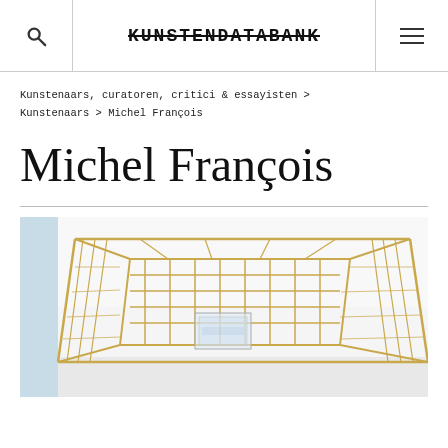KUNSTENDATABANK
Kunstenaars, curatoren, critici & essayisten > Kunstenaars > Michel François
Michel François
[Figure (photo): A large gold/brass wire grid cage sculpture installed in a white gallery space, with a transparent glass or acrylic cube in the center. The structure features a grid of horizontal and vertical brass rods forming a room-sized rectangular enclosure.]